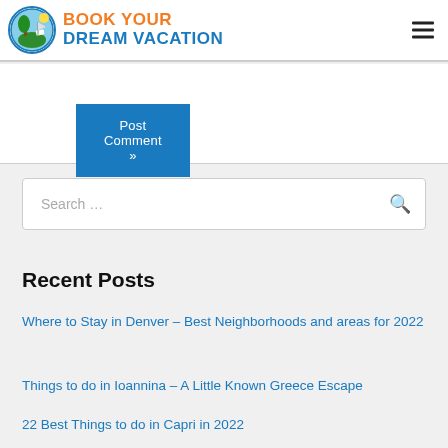BOOK YOUR DREAM VACATION
Post Comment »
Search …
Recent Posts
Where to Stay in Denver – Best Neighborhoods and areas for 2022
Things to do in Ioannina – A Little Known Greece Escape
22 Best Things to do in Capri in 2022